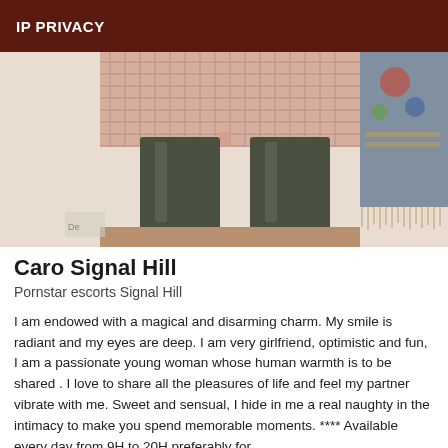IP PRIVACY
[Figure (photo): Close-up photo of legs wearing fishnet stockings and tall dark olive/green leather boots, with a decorative tapestry visible in the background]
Caro Signal Hill
Pornstar escorts Signal Hill
I am endowed with a magical and disarming charm. My smile is radiant and my eyes are deep. I am very girlfriend, optimistic and fun, I am a passionate young woman whose human warmth is to be shared . I love to share all the pleasures of life and feel my partner vibrate with me. Sweet and sensual, I hide in me a real naughty in the intimacy to make you spend memorable moments. **** Available every day from 9H to 20H preferably for